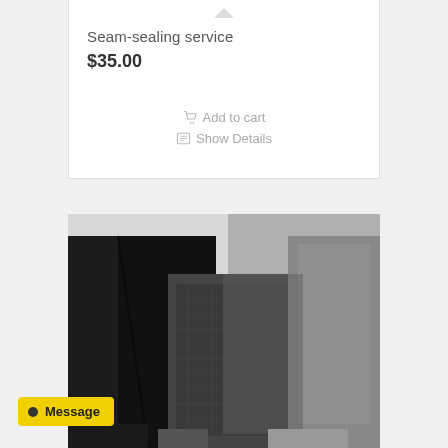Seam-sealing service
$35.00
Add to cart
Show Details
[Figure (photo): Photo of multiple fabric swatches in black, dark gray, and light gray arranged overlapping on a white background, showing different textile textures.]
Message